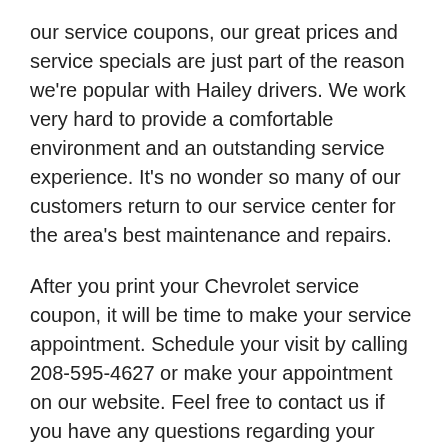our service coupons, our great prices and service specials are just part of the reason we're popular with Hailey drivers. We work very hard to provide a comfortable environment and an outstanding service experience. It's no wonder so many of our customers return to our service center for the area's best maintenance and repairs.
After you print your Chevrolet service coupon, it will be time to make your service appointment. Schedule your visit by calling 208-595-4627 or make your appointment on our website. Feel free to contact us if you have any questions regarding your car's maintenance or repairs. If your vehicle makes an unfamiliar noise, you notice something doesn't feel right, or the check engine light comes on, contact our service department. Our representatives are ready to help. Con Paulos Chevrolet proudly serves the Hailey area. We're located at 251 East Frontage Road South in Jerome, easy to reach from Hailey. When you need the area's best Chevrolet service, check out the service coupons on our website and